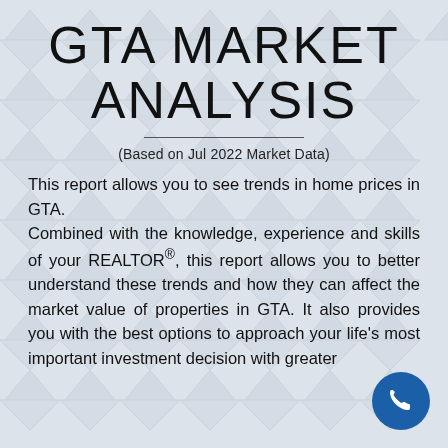GTA MARKET ANALYSIS
(Based on Jul 2022 Market Data)
This report allows you to see trends in home prices in GTA. Combined with the knowledge, experience and skills of your REALTOR®, this report allows you to better understand these trends and how they can affect the market value of properties in GTA. It also provides you with the best options to approach your life's most important investment decision with greater